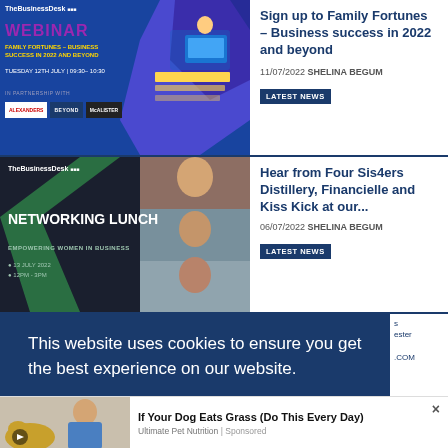[Figure (screenshot): TheBusinessDesk webinar promotional image - Family Fortunes, Business Success in 2022 and Beyond, Tuesday 12th July 09:30-10:30, purple/blue theme with hexagon graphic and partner logos (Alexanders, Beyond, McAlister)]
Sign up to Family Fortunes – Business success in 2022 and beyond
11/07/2022 SHELINA BEGUM
LATEST NEWS
[Figure (screenshot): TheBusinessDesk networking lunch promotional image - Empowering Women in Business, 13 July 2022, 12PM–3PM, dark background with green diagonal stripe and photos of women]
Hear from Four Sis4ers Distillery, Financielle and Kiss Kick at our...
06/07/2022 SHELINA BEGUM
LATEST NEWS
This website uses cookies to ensure you get the best experience on our website.
Learn more
[Figure (screenshot): Advertisement: If Your Dog Eats Grass (Do This Every Day) - Ultimate Pet Nutrition, Sponsored. Shows a man with a dog.]